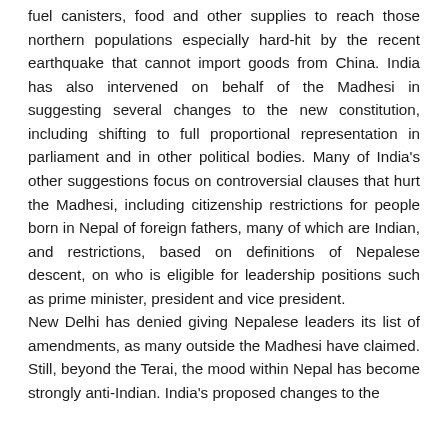fuel canisters, food and other supplies to reach those northern populations especially hard-hit by the recent earthquake that cannot import goods from China. India has also intervened on behalf of the Madhesi in suggesting several changes to the new constitution, including shifting to full proportional representation in parliament and in other political bodies. Many of India's other suggestions focus on controversial clauses that hurt the Madhesi, including citizenship restrictions for people born in Nepal of foreign fathers, many of which are Indian, and restrictions, based on definitions of Nepalese descent, on who is eligible for leadership positions such as prime minister, president and vice president.
New Delhi has denied giving Nepalese leaders its list of amendments, as many outside the Madhesi have claimed. Still, beyond the Terai, the mood within Nepal has become strongly anti-Indian. India's proposed changes to the